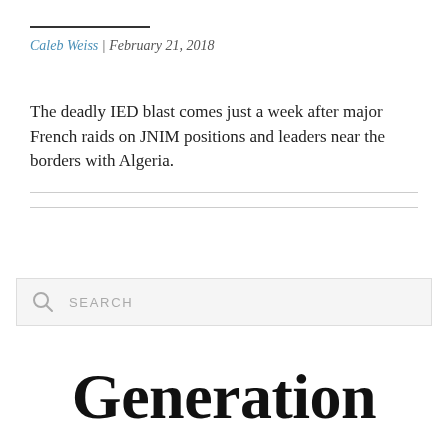Caleb Weiss | February 21, 2018
The deadly IED blast comes just a week after major French raids on JNIM positions and leaders near the borders with Algeria.
SEARCH
Generation